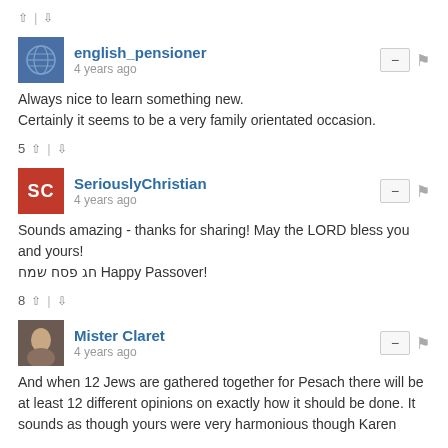5 ^ | v
english_pensioner
4 years ago
Always nice to learn something new. Certainly it seems to be a very family orientated occasion.
5 ^ | v
SeriouslyChristian
4 years ago
Sounds amazing - thanks for sharing! May the LORD bless you and yours!
חג פסח שמח Happy Passover!
8 ^ | v
Mister Claret
4 years ago
And when 12 Jews are gathered together for Pesach there will be at least 12 different opinions on exactly how it should be done. It sounds as though yours were very harmonious though Karen
8 ^ | v